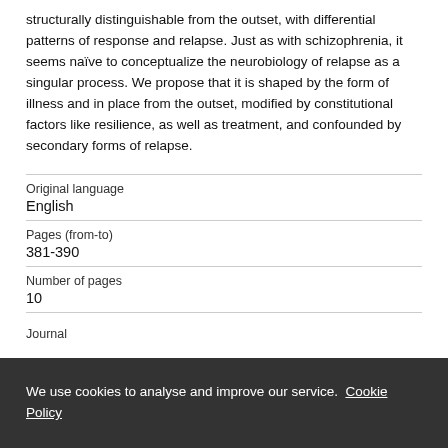structurally distinguishable from the outset, with differential patterns of response and relapse. Just as with schizophrenia, it seems naïve to conceptualize the neurobiology of relapse as a singular process. We propose that it is shaped by the form of illness and in place from the outset, modified by constitutional factors like resilience, as well as treatment, and confounded by secondary forms of relapse.
| Original language | English |
| Pages (from-to) | 381-390 |
| Number of pages | 10 |
| Journal |  |
We use cookies to analyse and improve our service. Cookie Policy